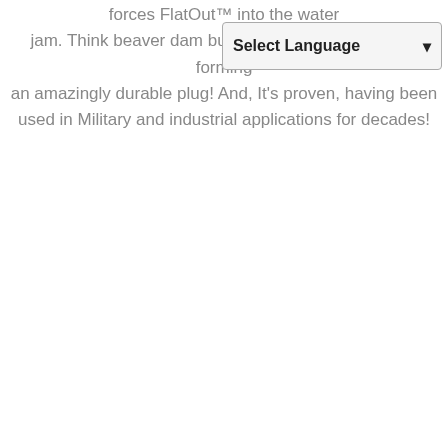forces FlatOut™ into the w[ater fibers and more forming] an amazingly durable plug! And, It's proven, having been used in Military and industrial applications for decades!
[Figure (screenshot): A browser UI dropdown widget labeled 'Select Language' with a downward arrow, overlaying part of the text.]